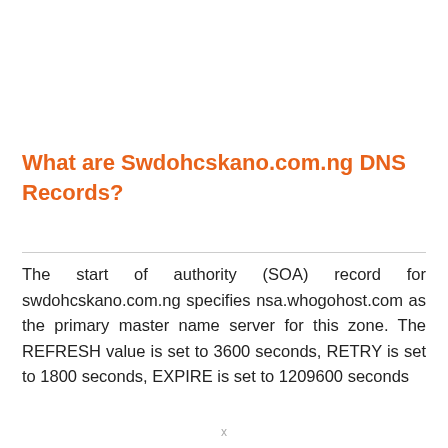What are Swdohcskano.com.ng DNS Records?
The start of authority (SOA) record for swdohcskano.com.ng specifies nsa.whogohost.com as the primary master name server for this zone. The REFRESH value is set to 3600 seconds, RETRY is set to 1800 seconds, EXPIRE is set to 1209600 seconds
x